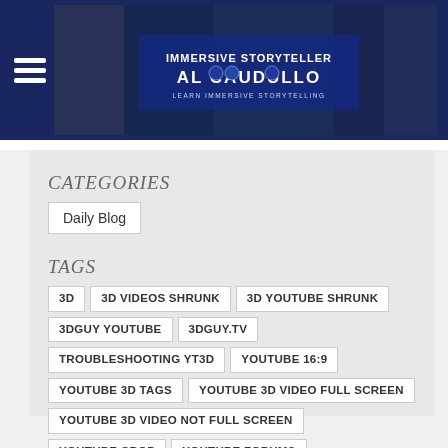IMMERSIVE STORYTELLER AL CAUDULLO — LEARN IMMERSIVE STORYTELLING
CATEGORIES
Daily Blog
TAGS
3D
3D VIDEOS SHRUNK
3D YOUTUBE SHRUNK
3DGUY YOUTUBE
3DGUY.TV
TROUBLESHOOTING YT3D
YOUTUBE 16:9
YOUTUBE 3D TAGS
YOUTUBE 3D VIDEO FULL SCREEN
YOUTUBE 3D VIDEO NOT FULL SCREEN
YOUTUBE CROP
YOUTUBE FORUMS
YOUTUBE RATION TAGS